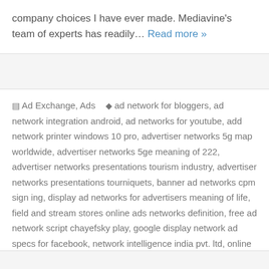company choices I have ever made. Mediavine's team of experts has readily… Read more »
Ad Exchange, Ads   ad network for bloggers, ad network integration android, ad networks for youtube, add network printer windows 10 pro, advertiser networks 5g map worldwide, advertiser networks 5ge meaning of 222, advertiser networks presentations tourism industry, advertiser networks presentations tourniquets, banner ad networks cpm sign ing, display ad networks for advertisers meaning of life, field and stream stores online ads networks definition, free ad network script chayefsky play, google display network ad specs for facebook, network intelligence india pvt. ltd, online ad networks advertisers definition, online display advertising definition, radiate media traffic network radio news